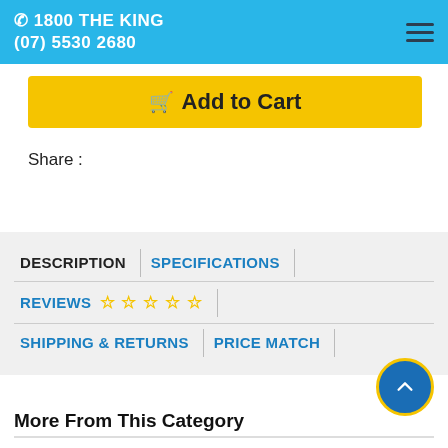1800 THE KING (07) 5530 2680
Add to Cart
Share :
DESCRIPTION
SPECIFICATIONS
REVIEWS
SHIPPING & RETURNS
PRICE MATCH
More From This Category